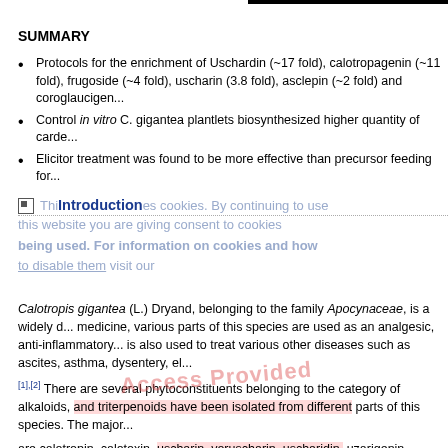SUMMARY
Protocols for the enrichment of Uschardin (~17 fold), calotropagenin (~11 fold), frugoside (~4 fold), uscharin (3.8 fold), asclepin (~2 fold) and coroglaucigen...
Control in vitro C. gigantea plantlets biosynthesized higher quantity of carde...
Elicitor treatment was found to be more effective than precursor feeding for...
Introduction
Calotropis gigantea (L.) Dryand, belonging to the family Apocynaceae, is a widely d... medicine, various parts of this species are used as an analgesic, anti-inflammatory... is also used to treat various other diseases such as ascites, asthma, dysentery, el... [1],[2] There are several phytoconstituents belonging to the category of alkaloids, ... and triterpenoids have been isolated from different parts of this species. The major ... are calotropin, calotoxin, uscharin, voruscharin, uscharidin, uzarigenin, syriogenin, ... CGs are well-known as anti-arrhythmic agents, and there are several drugs such a... market. However, in recent years, anti-proliferative activity of several CGs agains...